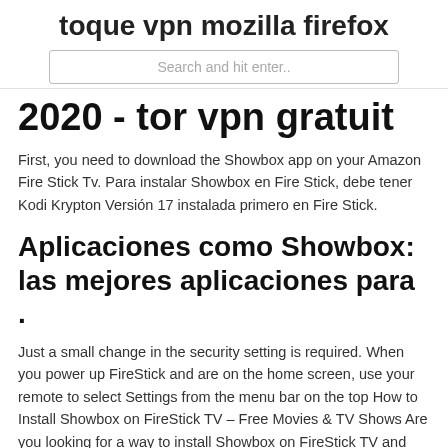toque vpn mozilla firefox
Search and hit enter..
2020 - tor vpn gratuit
First, you need to download the Showbox app on your Amazon Fire Stick Tv. Para instalar Showbox en Fire Stick, debe tener Kodi Krypton Versión 17 instalada primero en Fire Stick.
Aplicaciones como Showbox: las mejores aplicaciones para .
Just a small change in the security setting is required. When you power up FireStick and are on the home screen, use your remote to select Settings from the menu bar on the top How to Install Showbox on FireStick TV – Free Movies & TV Shows Are you looking for a way to install Showbox on FireStick TV and get a hold of thousands of movies and TV shows free to stream all day and night? Here's everything you need to know about Showbox, what you can do with it, and how to get it running on the big screen. 10/11/2017 · how to free firestick